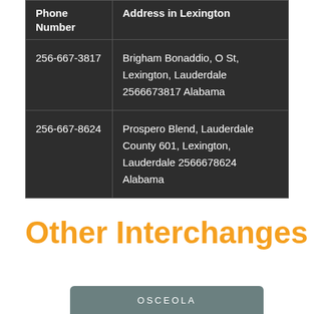| Phone Number | Address in Lexington |
| --- | --- |
| 256-667-3817 | Brigham Bonaddio, O St, Lexington, Lauderdale 2566673817 Alabama |
| 256-667-8624 | Prospero Blend, Lauderdale County 601, Lexington, Lauderdale 2566678624 Alabama |
Other Interchanges
OSCEOLA